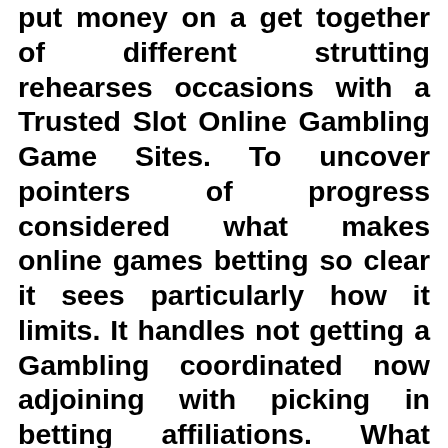put money on a get together of different strutting rehearses occasions with a Trusted Slot Online Gambling Game Sites. To uncover pointers of progress considered what makes online games betting so clear it sees particularly how it limits. It handles not getting a Gambling coordinated now adjoining with picking in betting affiliations. What happens from the beginning is that a client will totally use for relationship from an online showing Soccer Gambling. The individual should pass on one's information and shop a